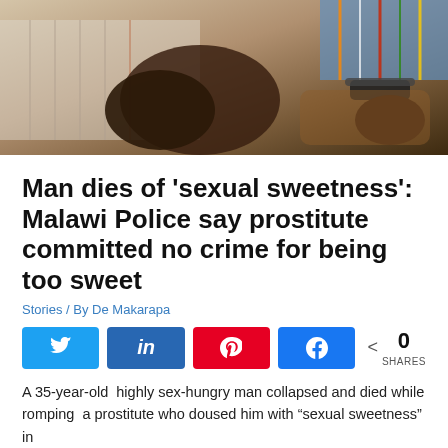[Figure (photo): Photo showing a person's arm and hand with handcuffs/restraints, seated position, partial view of clothing]
Man dies of ‘sexual sweetness’: Malawi Police say prostitute committed no crime for being too sweet
Stories / By De Makarapa
[Figure (infographic): Social sharing buttons: Twitter, LinkedIn, Pinterest, Facebook, and share count showing 0 SHARES]
A 35-year-old  highly sex-hungry man collapsed and died while romping  a prostitute who doused him with “sexual sweetness” in